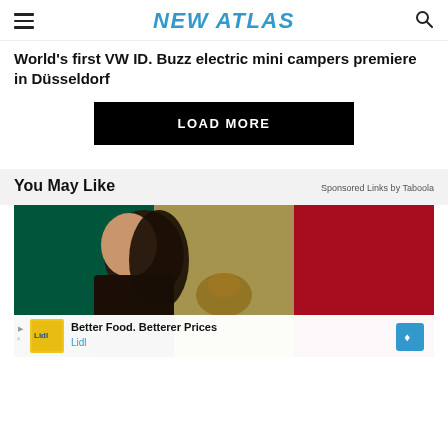NEW ATLAS
World's first VW ID. Buzz electric mini campers premiere in Düsseldorf
LOAD MORE
You May Like
Sponsored Links by Taboola
[Figure (photo): Woman in front of Mexican flag with Lidl advertisement banner showing 'Better Food. Betterer Prices - Lidl']